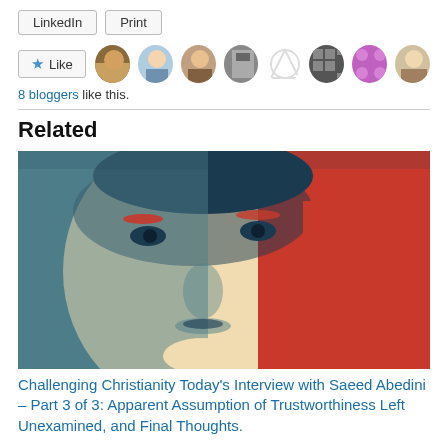[Figure (screenshot): LinkedIn and Print buttons]
[Figure (screenshot): Like button with star icon and 8 blogger avatars]
8 bloggers like this.
Related
[Figure (illustration): Stylized red, blue, and beige pop-art portrait of Saeed Abedini]
Challenging Christianity Today's Interview with Saeed Abedini – Part 3 of 3: Apparent Assumption of Trustworthiness Left Unexamined, and Final Thoughts.